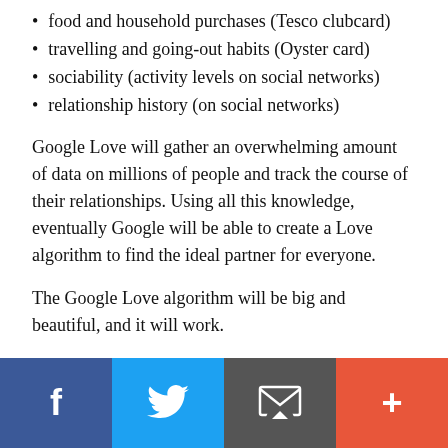food and household purchases (Tesco clubcard)
travelling and going-out habits (Oyster card)
sociability (activity levels on social networks)
relationship history (on social networks)
Google Love will gather an overwhelming amount of data on millions of people and track the course of their relationships. Using all this knowledge, eventually Google will be able to create a Love algorithm to find the ideal partner for everyone.
The Google Love algorithm will be big and beautiful, and it will work.
Marriage, sex and robots.
Social share buttons: Facebook, Twitter, Email, Plus